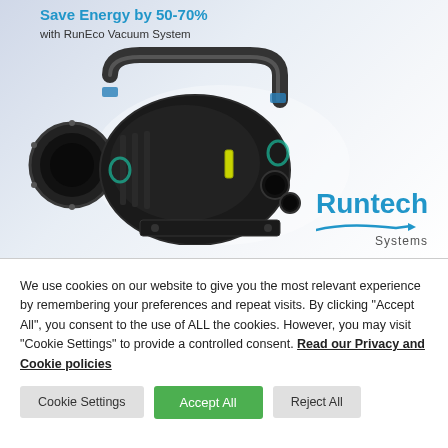[Figure (illustration): Runtech Systems RunEco Vacuum pump product image with 'Save Energy by 50-70% with RunEco Vacuum System' headline and Runtech Systems logo]
We use cookies on our website to give you the most relevant experience by remembering your preferences and repeat visits. By clicking "Accept All", you consent to the use of ALL the cookies. However, you may visit "Cookie Settings" to provide a controlled consent. Read our Privacy and Cookie policies
Cookie Settings
Accept All
Reject All